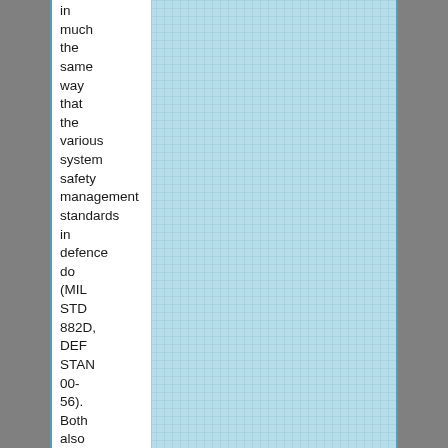in much the same way that the various system safety management standards in defence do (MIL STD 882D, DEF STAN 00-56). Both also involve mitigation of risk by design